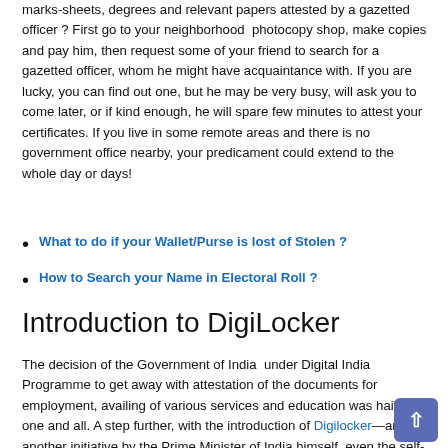marks-sheets, degrees and relevant papers attested by a gazetted officer ? First go to your neighborhood photocopy shop, make copies and pay him, then request some of your friend to search for a gazetted officer, whom he might have acquaintance with. If you are lucky, you can find out one, but he may be very busy, will ask you to come later, or if kind enough, he will spare few minutes to attest your certificates. If you live in some remote areas and there is no government office nearby, your predicament could extend to the whole day or days!
What to do if your Wallet/Purse is lost of Stolen ?
How to Search your Name in Electoral Roll ?
Introduction to DigiLocker
The decision of the Government of India under Digital India Programme to get away with attestation of the documents for employment, availing of various services and education was hailed by one and all. A step further, with the introduction of Digilocker—an another initiative by the Prime Minister of India himself, even the self-attested copies of the required certificates have also been dispensed